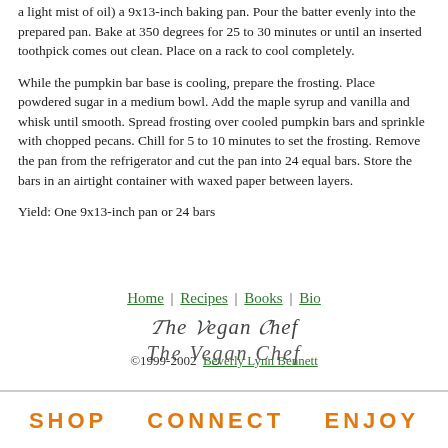a light mist of oil) a 9x13-inch baking pan. Pour the batter evenly into the prepared pan. Bake at 350 degrees for 25 to 30 minutes or until an inserted toothpick comes out clean. Place on a rack to cool completely.
While the pumpkin bar base is cooling, prepare the frosting. Place powdered sugar in a medium bowl. Add the maple syrup and vanilla and whisk until smooth. Spread frosting over cooled pumpkin bars and sprinkle with chopped pecans. Chill for 5 to 10 minutes to set the frosting. Remove the pan from the refrigerator and cut the pan into 24 equal bars. Store the bars in an airtight container with waxed paper between layers.
Yield: One 9x13-inch pan or 24 bars
Home | Recipes | Books | Bio
[Figure (logo): The Vegan Chef logo in decorative script font]
©1999-2002  Beverly Lynn Bennett
[Figure (infographic): Banner with text SHOP  CONNECT  ENJOY in orange bold letters]